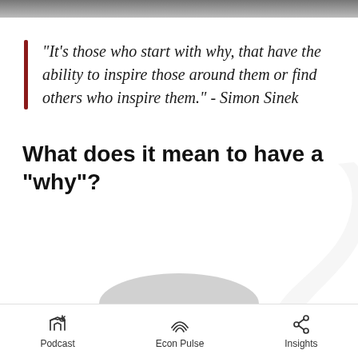[Figure (photo): Top image bar (partial image cropped at top of page)]
“It’s those who start with why, that have the ability to inspire those around them or find others who inspire them.” - Simon Sinek
What does it mean to have a “why”?
Podcast   Econ Pulse   Insights